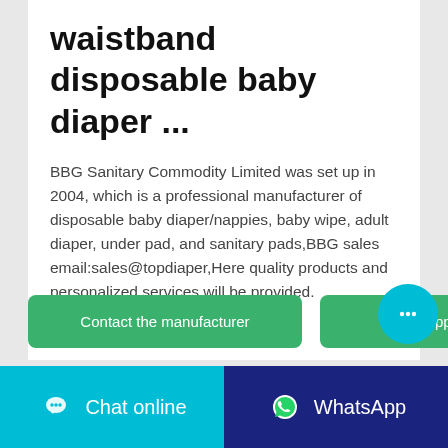waistband disposable baby diaper ...
BBG Sanitary Commodity Limited was set up in 2004, which is a professional manufacturer of disposable baby diaper/nappies, baby wipe, adult diaper, under pad, and sanitary pads,BBG sales email:sales@topdiaper,Here quality products and personalized services will be provided.
Contact the manufacturer
WhatsApp
Chat online
WhatsApp